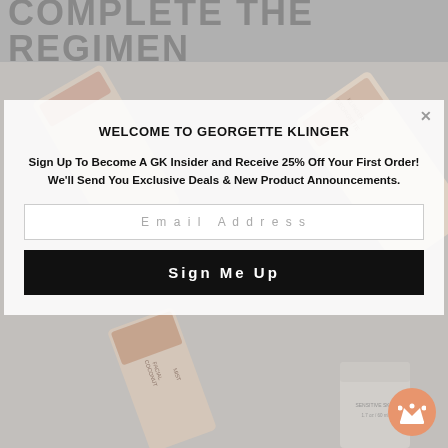COMPLETE THE REGIMEN
[Figure (photo): Background with Georgette Klinger skincare product bottles arranged diagonally, muted/faded appearance behind modal overlay]
WELCOME TO GEORGETTE KLINGER
Sign Up To Become A GK Insider and Receive 25% Off Your First Order! We'll Send You Exclusive Deals & New Product Announcements.
Email Address
Sign Me Up
[Figure (photo): Georgette Klinger Coconut Facial Mist product bottle and cylindrical container for sensitive skin in lower portion of page]
[Figure (logo): Orange/salmon circular crown badge icon in bottom right corner]